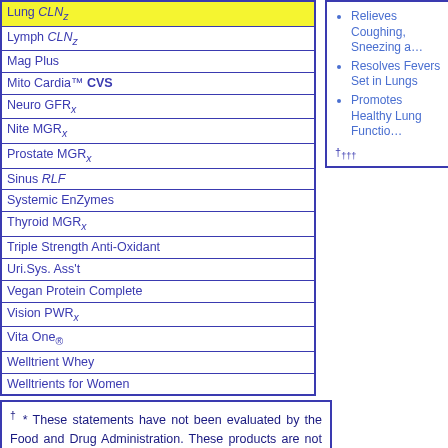| Product |
| --- |
| Lung CLNz |
| Lymph CLNz |
| Mag Plus |
| Mito Cardia™ CVS |
| Neuro GFRx |
| Nite MGRx |
| Prostate MGRx |
| Sinus RLF |
| Systemic EnZymes |
| Thyroid MGRx |
| Triple Strength Anti-Oxidant |
| Uri.Sys. Ass't |
| Vegan Protein Complete |
| Vision PWRx |
| Vita One® |
| Welltrient Whey |
| Welltrients for Women |
Relieves Coughing, Sneezing a…
Resolves Fevers Set in Lungs
Promotes Healthy Lung Functio…
††††
† * These statements have not been evaluated by the Food and Drug Administration. These products are not intended to diagnose, treat, cure or prevent a disease, but rather are dietary supplements intended solely for nutritional support.†